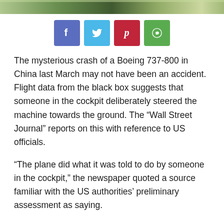[Figure (photo): Partial photo strip at top of page showing outdoor scene with greenery]
[Figure (infographic): Social media share buttons: Facebook (blue-purple), Twitter (light blue), Pinterest (red), WhatsApp (green)]
The mysterious crash of a Boeing 737-800 in China last March may not have been an accident. Flight data from the black box suggests that someone in the cockpit deliberately steered the machine towards the ground. The “Wall Street Journal” reports on this with reference to US officials.
“The plane did what it was told to do by someone in the cockpit,” the newspaper quoted a source familiar with the US authorities’ preliminary assessment as saying.
The investigation is being led by China’s civil aviation authority, CAAC. So far, they have not been able to identify any mechanical problems on the aircraft. This is also reported by